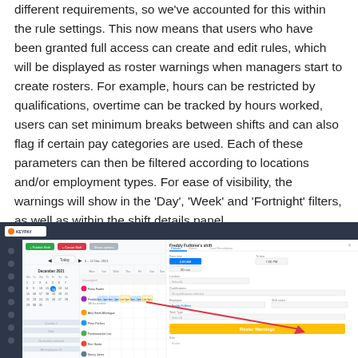different requirements, so we've accounted for this within the rule settings. This now means that users who have been granted full access can create and edit rules, which will be displayed as roster warnings when managers start to create rosters. For example, hours can be restricted by qualifications, overtime can be tracked by hours worked, users can set minimum breaks between shifts and can also flag if certain pay categories are used. Each of these parameters can then be filtered according to locations and/or employment types. For ease of visibility, the warnings will show in the 'Day', 'Week' and 'Fortnight' filters, as well as within the shift details panel.
[Figure (screenshot): Screenshot of KeyPay roster scheduling software showing a weekly roster view with employee shifts and a shift details panel on the right side. The panel shows fields for employee (Freddy Fulltime's shift), dates, location, qualifications, employee type, work type, and a yellow 'Roster Warnings' button at the bottom.]